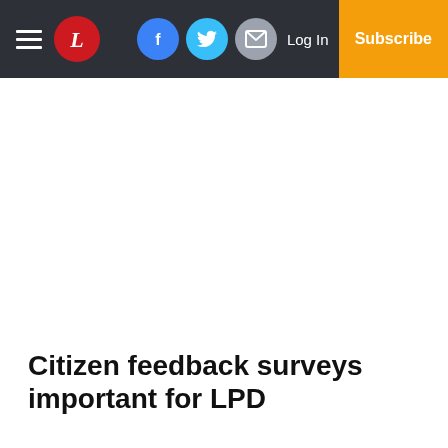Navigation bar with hamburger menu, newspaper logo (L), Facebook, Twitter, Email icons, Log In, Subscribe
Citizen feedback surveys important for LPD